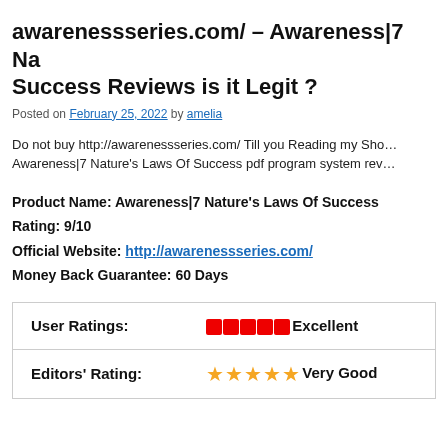awarenessseries.com/ – Awareness|7 Nature's Laws Of Success Reviews is it Legit ?
Posted on February 25, 2022 by amelia
Do not buy http://awarenessseries.com/ Till you Reading my Shocking Awareness|7 Nature's Laws Of Success pdf program system review…
Product Name: Awareness|7 Nature's Laws Of Success
Rating: 9/10
Official Website: http://awarenessseries.com/
Money Back Guarantee: 60 Days
|  |  |
| --- | --- |
| User Ratings: | ⬛⬛⬛⬛⬛ Excellent |
| Editors' Rating: | ★★★★★ Very Good |